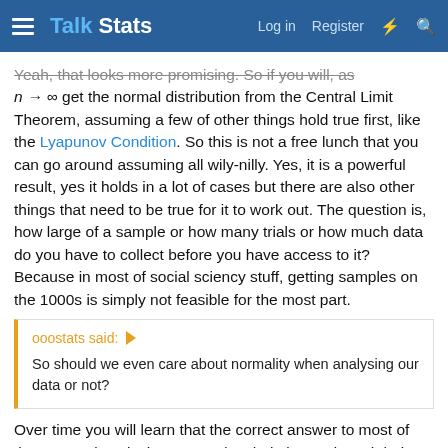Talk Stats — Log in  Register
Yeah, that looks more promising. So if you will, as n → ∞ get the normal distribution from the Central Limit Theorem, assuming a few of other things hold true first, like the Lyapunov Condition. So this is not a free lunch that you can go around assuming all wily-nilly. Yes, it is a powerful result, yes it holds in a lot of cases but there are also other things that need to be true for it to work out. The question is, how large of a sample or how many trials or how much data do you have to collect before you have access to it? Because in most of social sciency stuff, getting samples on the 1000s is simply not feasible for the most part.
ooostats said: So should we even care about normality when analysing our data or not?
Over time you will learn that the correct answer to most of these questions is the very underwhelming and much hair-pulling "it depends". Does it matter much if you're calculating a simple